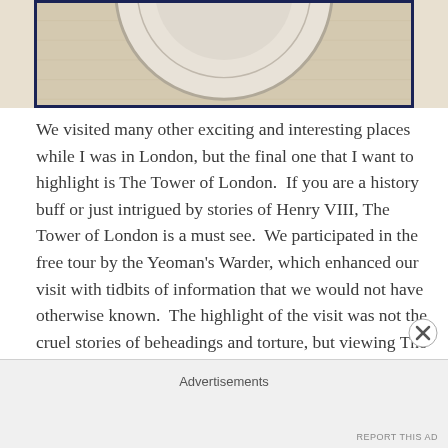[Figure (photo): Partial view of a white plate or dish on a light linen/fabric background, cropped at top, shown inside a dark navy border frame.]
We visited many other exciting and interesting places while I was in London, but the final one that I want to highlight is The Tower of London.  If you are a history buff or just intrigued by stories of Henry VIII, The Tower of London is a must see.  We participated in the free tour by the Yeoman's Warder, which enhanced our visit with tidbits of information that we would not have otherwise known.  The highlight of the visit was not the cruel stories of beheadings and torture, but viewing The
Advertisements